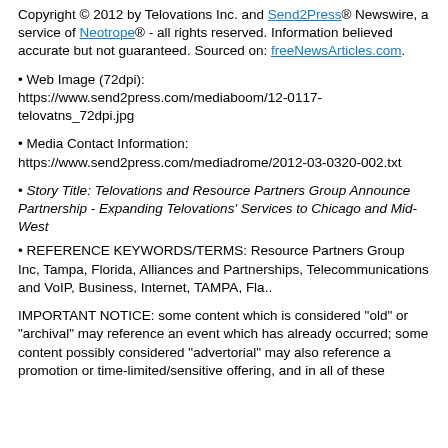Copyright © 2012 by Telovations Inc. and Send2Press® Newswire, a service of Neotrope® - all rights reserved. Information believed accurate but not guaranteed. Sourced on: freeNewsArticles.com.
Web Image (72dpi): https://www.send2press.com/mediaboom/12-0117-telovatns_72dpi.jpg
Media Contact Information: https://www.send2press.com/mediadrome/2012-03-0320-002.txt
Story Title: Telovations and Resource Partners Group Announce Partnership - Expanding Telovations' Services to Chicago and Mid-West
REFERENCE KEYWORDS/TERMS: Resource Partners Group Inc, Tampa, Florida, Alliances and Partnerships, Telecommunications and VoIP, Business, Internet, TAMPA, Fla..
IMPORTANT NOTICE: some content which is considered "old" or "archival" may reference an event which has already occurred; some content possibly considered "advertorial" may also reference a promotion or time-limited/sensitive offering, and in all of these